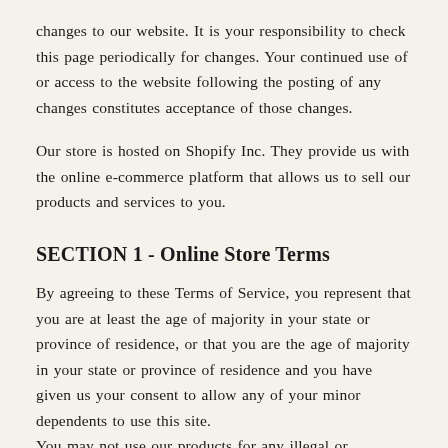changes to our website. It is your responsibility to check this page periodically for changes. Your continued use of or access to the website following the posting of any changes constitutes acceptance of those changes.
Our store is hosted on Shopify Inc. They provide us with the online e-commerce platform that allows us to sell our products and services to you.
SECTION 1 - Online Store Terms
By agreeing to these Terms of Service, you represent that you are at least the age of majority in your state or province of residence, or that you are the age of majority in your state or province of residence and you have given us your consent to allow any of your minor dependents to use this site.
You may not use our products for any illegal or unauthorized purpose nor may you, in the use of the Service, violate any